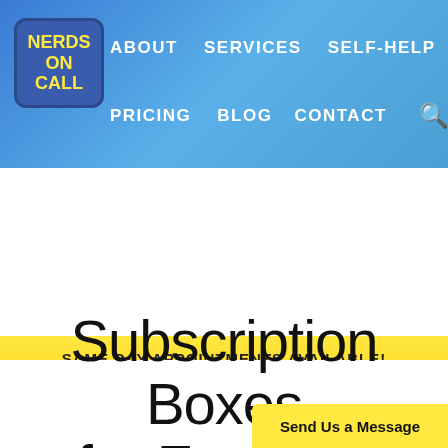[Figure (screenshot): Nerds on Call website navigation bar with blue gradient background, logo (yellow text on dark blue rounded rectangle), and white navigation links: ABOUT, SERVICES, SELF-HELP, PRICING, BLOG, CONTACT, and search icon]
SAME DAY APPOINTMENTS AVAILABLE!
800-919-6373
Find Your Location
Enter city or zip code
GO
Subscription Boxes for Foodies!
Send Us a Message